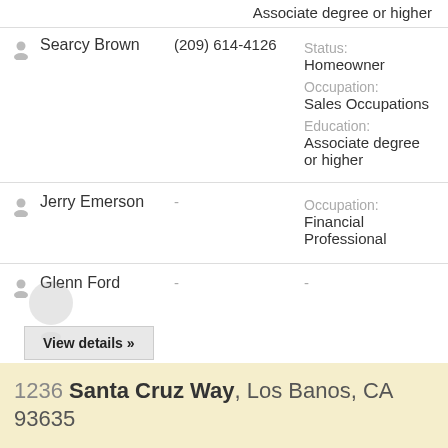Associate degree or higher
Searcy Brown | (209) 614-4126 | Status: Homeowner | Occupation: Sales Occupations | Education: Associate degree or higher
Jerry Emerson | - | Occupation: Financial Professional
Glenn Ford | - | -
View details »
1236 Santa Cruz Way, Los Banos, CA 93635